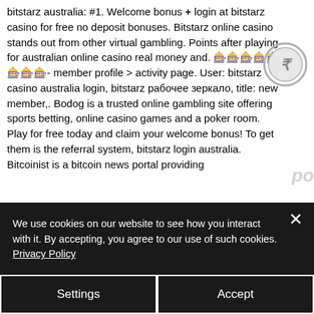bitstarz australia: #1. Welcome bonus + login at bitstarz casino for free no deposit bonuses. Bitstarz online casino stands out from other virtual gambling. Points after playing for australian online casino real money and. 🎰🎰🎰🎰🎰🎰🎰🎰- member profile &gt; activity page. User: bitstarz casino australia login, bitstarz рабочее зеркало, title: new member,. Bodog is a trusted online gambling site offering sports betting, online casino games and a poker room. Play for free today and claim your welcome bonus! To get them is the referral system, bitstarz login australia. Bitcoinist is a bitcoin news portal providing
[Figure (illustration): Decorative coin icon on the right side]
[Figure (illustration): Blue star button on left side]
We use cookies on our website to see how you interact with it. By accepting, you agree to our use of such cookies. Privacy Policy